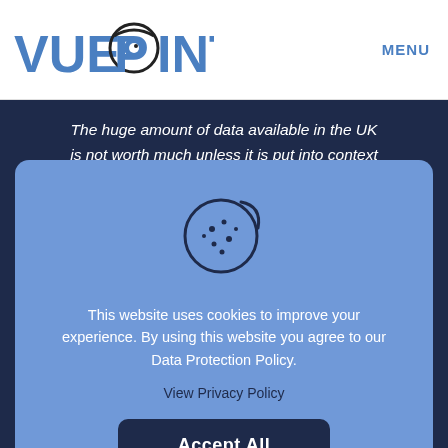VUEPOINT | MENU
The huge amount of data available in the UK is not worth much unless it is put into context
[Figure (illustration): Cookie icon — a circular biscuit with a bite taken out of the top-right, decorated with dots/chips, drawn in dark outline on a blue background]
This website uses cookies to improve your experience. By using this website you agree to our Data Protection Policy.
View Privacy Policy
Accept All